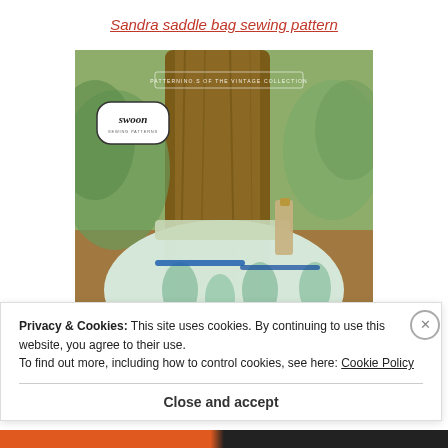Sandra saddle bag sewing pattern
[Figure (photo): Photo of a handmade saddle bag with feather/leaf print fabric in light blue and green tones, hanging against a tree trunk outdoors. The bag has teal and blue zipper accents and a tan strap. The image includes the Swoon Sewing Patterns logo badge in the upper left and text reading 'PATTERNINO.S OF THE VINTAGE COLLECTION' near the top.]
Privacy & Cookies: This site uses cookies. By continuing to use this website, you agree to their use.
To find out more, including how to control cookies, see here: Cookie Policy
Close and accept